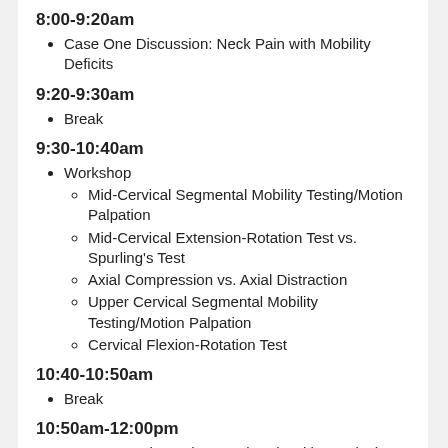8:00-9:20am
Case One Discussion: Neck Pain with Mobility Deficits
9:20-9:30am
Break
9:30-10:40am
Workshop
Mid-Cervical Segmental Mobility Testing/Motion Palpation
Mid-Cervical Extension-Rotation Test vs. Spurling's Test
Axial Compression vs. Axial Distraction
Upper Cervical Segmental Mobility Testing/Motion Palpation
Cervical Flexion-Rotation Test
10:40-10:50am
Break
10:50am-12:00pm
Case Two: Discussion: Neck Pain with Headache